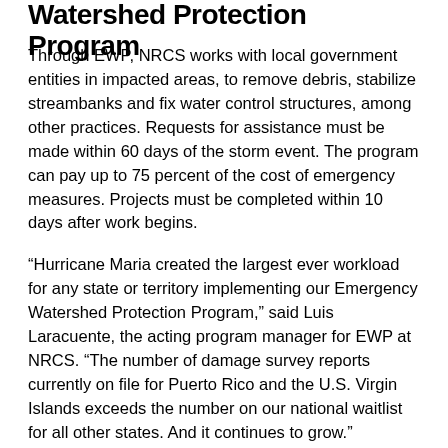Watershed Protection Program
Through EWP, NRCS works with local government entities in impacted areas, to remove debris, stabilize streambanks and fix water control structures, among other practices. Requests for assistance must be made within 60 days of the storm event. The program can pay up to 75 percent of the cost of emergency measures. Projects must be completed within 10 days after work begins.
“Hurricane Maria created the largest ever workload for any state or territory implementing our Emergency Watershed Protection Program,” said Luis Laracuente, the acting program manager for EWP at NRCS. “The number of damage survey reports currently on file for Puerto Rico and the U.S. Virgin Islands exceeds the number on our national waitlist for all other states. And it continues to grow.”